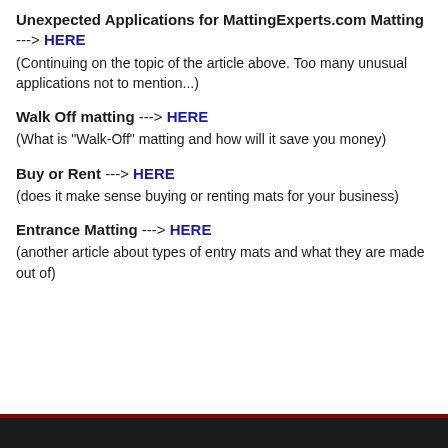Unexpected Applications for MattingExperts.com Matting --> HERE
(Continuing on the topic of the article above. Too many unusual applications not to mention...)
Walk Off matting --> HERE
(What is "Walk-Off" matting and how will it save you money)
Buy or Rent --> HERE
(does it make sense buying or renting mats for your business)
Entrance Matting --> HERE
(another article about types of entry mats and what they are made out of)